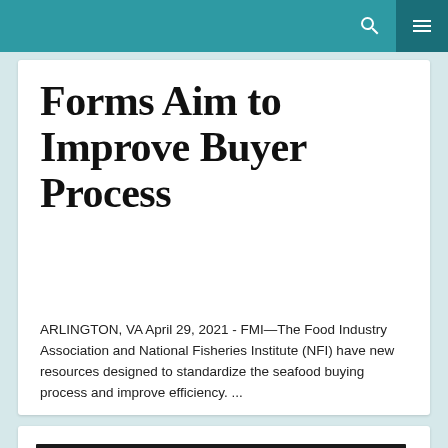Forms Aim to Improve Buyer Process
ARLINGTON, VA April 29, 2021 - FMI—The Food Industry Association and National Fisheries Institute (NFI) have new resources designed to standardize the seafood buying process and improve efficiency. ...